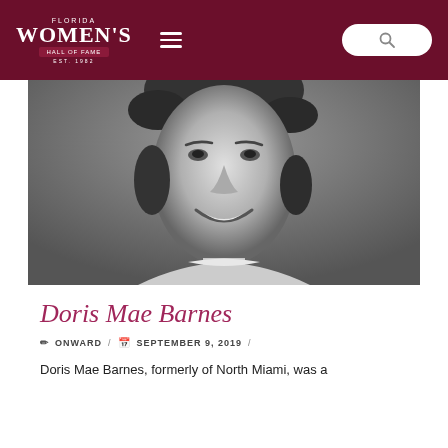Florida Women's Hall of Fame — EST. 1982
[Figure (photo): Black and white close-up portrait photograph of Doris Mae Barnes, a woman with short dark hair, smiling.]
Doris Mae Barnes
✏ ONWARD / 📅 SEPTEMBER 9, 2019 /
Doris Mae Barnes, formerly of North Miami, was a